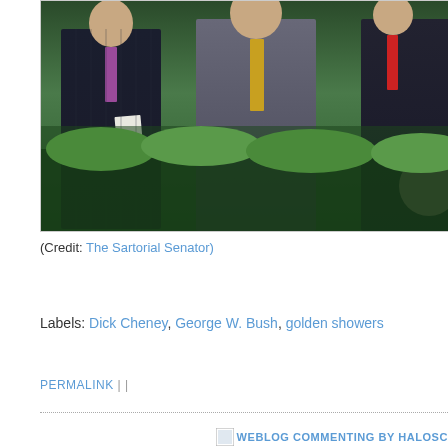[Figure (photo): Photo of men in suits standing outdoors near green bushes, cropped at the top of the page. Three figures visible in dark suits with ties, standing in front of green hedges.]
(Credit: The Sartorial Senator)
Labels: Dick Cheney, George W. Bush, golden showers
PERMALINK | |
[Figure (logo): WEBLOG COMMENTING BY HALOSC... logo/icon at bottom right]